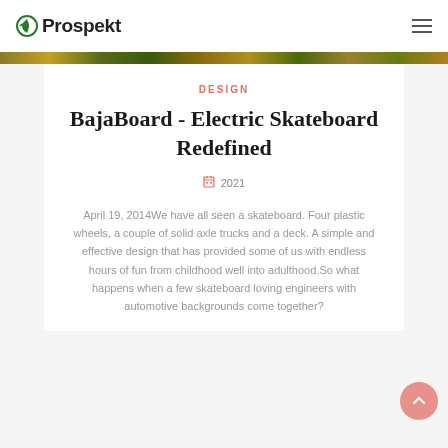Prospekt
[Figure (photo): Decorative banner strip image across the top of the content area]
DESIGN
BajaBoard - Electric Skateboard Redefined
2021
April 19, 2014We have all seen a skateboard. Four plastic wheels, a couple of solid axle trucks and a deck. A simple and effective design that has provided some of us with endless hours of fun from childhood well into adulthood.So what happens when a few skateboard loving engineers with automotive backgrounds come together?